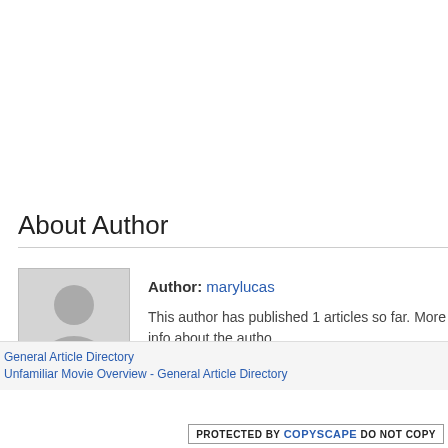About Author
[Figure (illustration): Silhouette placeholder avatar image for author profile]
Author: marylucas
This author has published 1 articles so far. More info about the autho
General Article Directory
Unfamiliar Movie Overview - General Article Directory
[Figure (logo): PROTECTED BY COPYSCAPE DO NOT COPY badge]